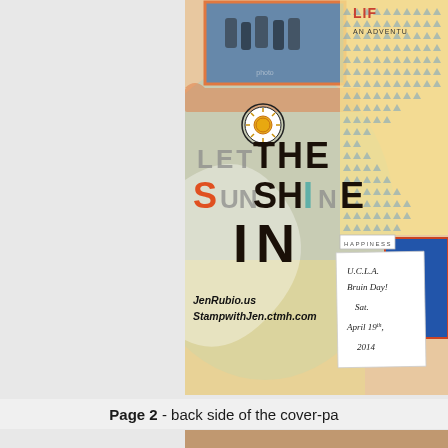[Figure (photo): Scrapbook page photograph showing a decorative scrapbook layout with 'LET THE SUNSHINE IN' text in mixed colors, a sun icon, a handwritten note card reading 'U.C.L.A. Bruin Day! Sat. April 19th 2014', a HAPPINESS label, dotted triangle pattern, orange and teal color scheme, and website URLs JenRubio.us and StampwithJen.ctmh.com]
Page 2 - back side of the cover-pa